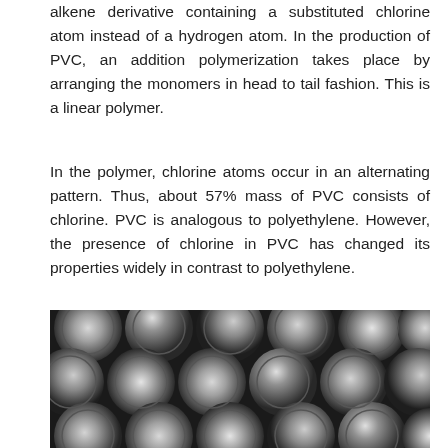alkene derivative containing a substituted chlorine atom instead of a hydrogen atom. In the production of PVC, an addition polymerization takes place by arranging the monomers in head to tail fashion. This is a linear polymer.
In the polymer, chlorine atoms occur in an alternating pattern. Thus, about 57% mass of PVC consists of chlorine. PVC is analogous to polyethylene. However, the presence of chlorine in PVC has changed its properties widely in contrast to polyethylene.
[Figure (photo): A black-and-white photograph showing a large bundle of PVC pipes viewed from the end, arranged in a stacked pattern filling the frame. The circular pipe openings create a repeating pattern with metallic/grey tones.]